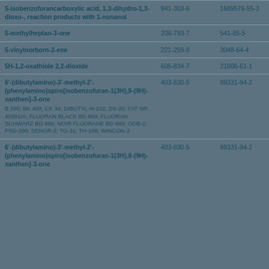| Substance Name | EC No. | CAS No. |
| --- | --- | --- |
| 5-isobenzofurancarboxylic acid, 1,3-dihydro-1,3-dioxo-, reaction products with 1-nonanol | 941-303-6 | 1689576-55-3 |
| 5-methylheptan-3-one | 208-793-7 | 541-85-5 |
| 5-vinylnorborn-2-ene | 221-259-8 | 3048-64-4 |
| 5H-1,2-oxathiole 2,2-dioxide | 606-834-7 | 21806-61-1 |
| 6'-(dibutylamino)-3'-methyl-2'-(phenylamino)spiro[isobenzofuran-1(3H),9-(9H)-xanthen]-3-one [B 290; BK 400; CK 34; DIBUTYL-N-102; DX-20; FAT NR. 40391/A; FLUORAN BLACK BD 869; FLUORAN SCHWARZ BD 869; NOIR FLUORANE BD 869; ODB-2; PSD-290; SENOR-2; TG-31; TH-108; WINCON-2] | 403-830-5 | 89331-94-2 |
| 6'-(dibutylamino)-3'-methyl-2'-(phenylamino)spiro[isobenzofuran-1(3H),9-(9H)-xanthen]-3-one | 403-830-5 | 89331-94-2 |